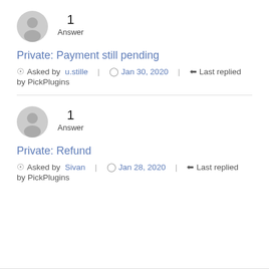[Figure (illustration): Grey user avatar circle icon]
1
Answer
Private: Payment still pending
Asked by u.stille  Jan 30, 2020  Last replied by PickPlugins
[Figure (illustration): Grey user avatar circle icon]
1
Answer
Private: Refund
Asked by Sivan  Jan 28, 2020  Last replied by PickPlugins